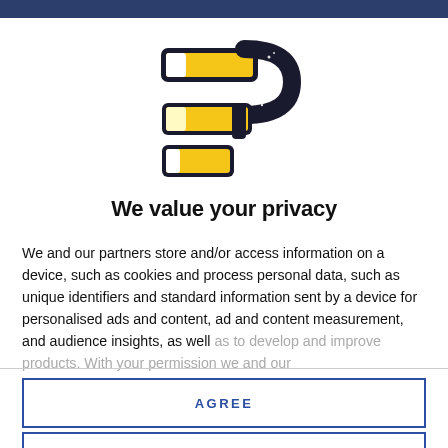[Figure (logo): Stylized letter P logo made of three stacked gold/yellow cigarette-like bars with a thick black rounded outline, on white background]
We value your privacy
We and our partners store and/or access information on a device, such as cookies and process personal data, such as unique identifiers and standard information sent by a device for personalised ads and content, ad and content measurement, and audience insights, as well as to develop and improve products. With your permission we and our
AGREE
MORE OPTIONS